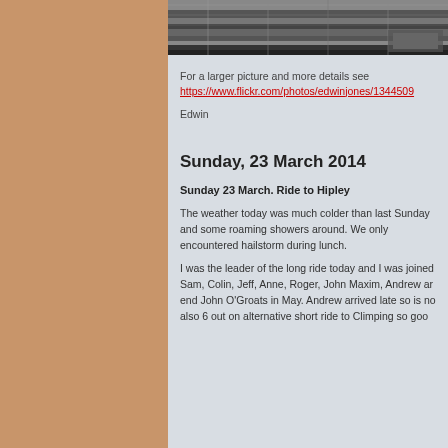[Figure (photo): Black and white aerial/architectural photograph, partially visible at top of content area]
For a larger picture and more details see https://www.flickr.com/photos/edwinjones/13445094...
Edwin
Sunday, 23 March 2014
Sunday 23 March. Ride to Hipley
The weather today was much colder than last Sunday and some roaming showers around. We only encountered hailstorm during lunch.
I was the leader of the long ride today and I was joined by Sam, Colin, Jeff, Anne, Roger, John Maxim, Andrew and end John O'Groats in May. Andrew arrived late so is no also 6 out on alternative short ride to Climping so good